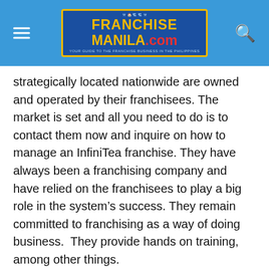FranchiseManila.com
strategically located nationwide are owned and operated by their franchisees. The market is set and all you need to do is to contact them now and inquire on how to manage an InfiniTea franchise. They have always been a franchising company and have relied on the franchisees to play a big role in the system’s success. They remain committed to franchising as a way of doing business. They provide hands on training, among other things.
The requirements upon applying for Infinitea Franchise are quite easy to understand and not that complicated. The traits one needs to possess are: